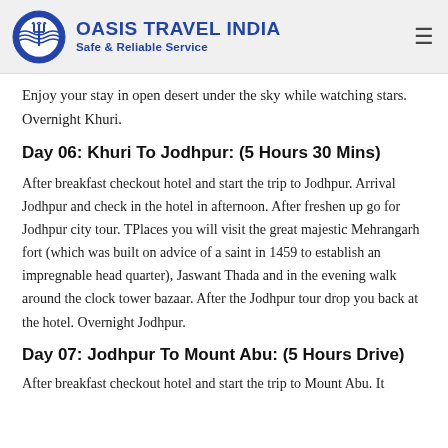OASIS TRAVEL INDIA Safe & Reliable Service
Enjoy your stay in open desert under the sky while watching stars. Overnight Khuri.
Day 06: Khuri To Jodhpur: (5 Hours 30 Mins)
After breakfast checkout hotel and start the trip to Jodhpur. Arrival Jodhpur and check in the hotel in afternoon. After freshen up go for Jodhpur city tour. TPlaces you will visit the great majestic Mehrangarh fort (which was built on advice of a saint in 1459 to establish an impregnable head quarter), Jaswant Thada and in the evening walk around the clock tower bazaar. After the Jodhpur tour drop you back at the hotel. Overnight Jodhpur.
Day 07: Jodhpur To Mount Abu: (5 Hours Drive)
After breakfast checkout hotel and start the trip to Mount Abu. It